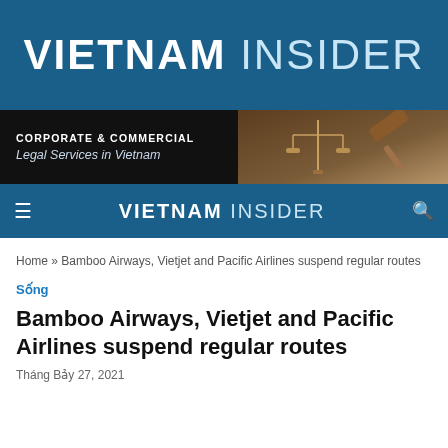VIETNAM INSIDER
[Figure (other): Advertisement banner: dark background with scales of justice and gavel image on right. Text reads 'CORPORATE & COMMERCIAL Legal Services in Vietnam']
VIETNAM INSIDER
Home » Bamboo Airways, Vietjet and Pacific Airlines suspend regular routes
Sống
Bamboo Airways, Vietjet and Pacific Airlines suspend regular routes
Tháng Bảy 27, 2021